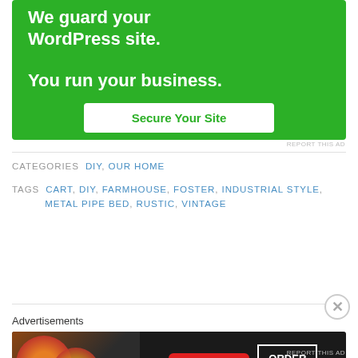[Figure (other): Green advertisement banner for WordPress security service with text 'We guard your WordPress site. You run your business.' and a white button 'Secure Your Site']
REPORT THIS AD
CATEGORIES DIY, OUR HOME
TAGS CART, DIY, FARMHOUSE, FOSTER, INDUSTRIAL STYLE, METAL PIPE BED, RUSTIC, VINTAGE
[Figure (other): Seamless food delivery advertisement showing pizza slices on dark background with Seamless logo and ORDER NOW button]